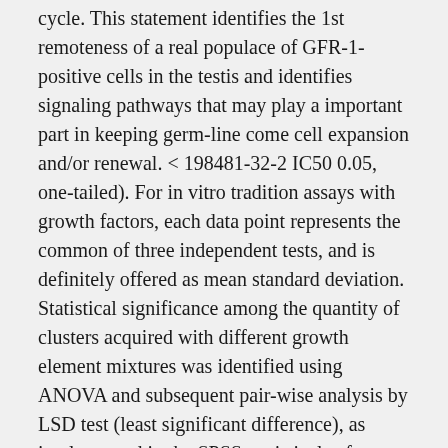cycle. This statement identifies the 1st remoteness of a real populace of GFR-1-positive cells in the testis and identifies signaling pathways that may play a important part in keeping germ-line come cell expansion and/or renewal. < 198481-32-2 IC50 0.05, one-tailed). For in vitro tradition assays with growth factors, each data point represents the common of three independent tests, and is definitely offered as mean standard deviation. Statistical significance among the quantity of clusters acquired with different growth element mixtures was identified using ANOVA and subsequent pair-wise analysis by LSD test (least significant difference), as implemented in the SPSS statistical software (SPSS, Chicago, IL). < 0.05 (one-tailed for LSD ...